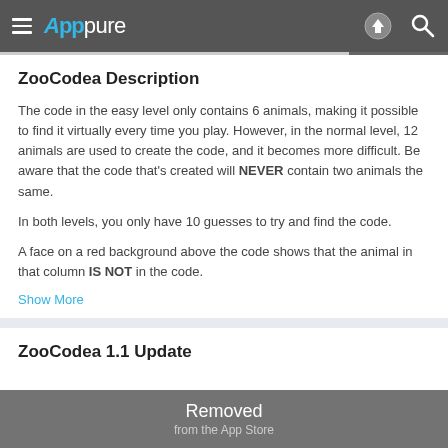Apppure
ZooCodea Description
The code in the easy level only contains 6 animals, making it possible to find it virtually every time you play. However, in the normal level, 12 animals are used to create the code, and it becomes more difficult. Be aware that the code that's created will NEVER contain two animals the same.
In both levels, you only have 10 guesses to try and find the code.
A face on a red background above the code shows that the animal in that column IS NOT in the code.
Show More
ZooCodea 1.1 Update
Removed from the App Store